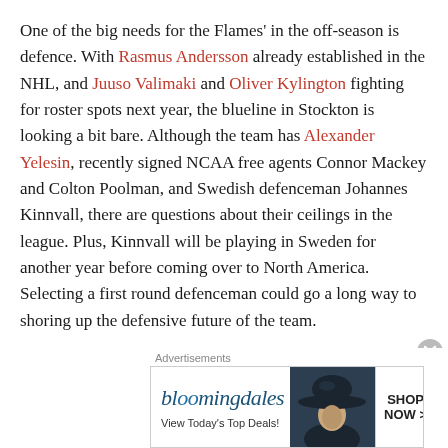One of the big needs for the Flames' in the off-season is defence. With Rasmus Andersson already established in the NHL, and Juuso Valimaki and Oliver Kylington fighting for roster spots next year, the blueline in Stockton is looking a bit bare. Although the team has Alexander Yelesin, recently signed NCAA free agents Connor Mackey and Colton Poolman, and Swedish defenceman Johannes Kinnvall, there are questions about their ceilings in the league. Plus, Kinnvall will be playing in Sweden for another year before coming over to North America. Selecting a first round defenceman could go a long way to shoring up the defensive future of the team.
Guhle is a strong all-around blueliner. Playing in the WHL,
[Figure (other): Bloomingdale's advertisement banner with logo, 'View Today's Top Deals!' text, woman in hat image, and 'SHOP NOW >' button]